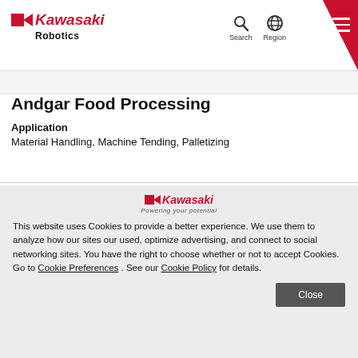[Figure (logo): Kawasaki Robotics logo with red square, arrow, and Kawasaki wordmark in italic red, with Robotics in black below]
[Figure (logo): Navigation icons: Search (magnifying glass) and Region (globe) with labels, plus red corner with hamburger menu]
Andgar Food Processing
Application
Material Handling, Machine Tending, Palletizing
[Figure (logo): Kawasaki logo with tagline 'Powering your potential' in cookie consent banner]
This website uses Cookies to provide a better experience. We use them to analyze how our sites our used, optimize advertising, and connect to social networking sites. You have the right to choose whether or not to accept Cookies. Go to Cookie Preferences . See our Cookie Policy for details.